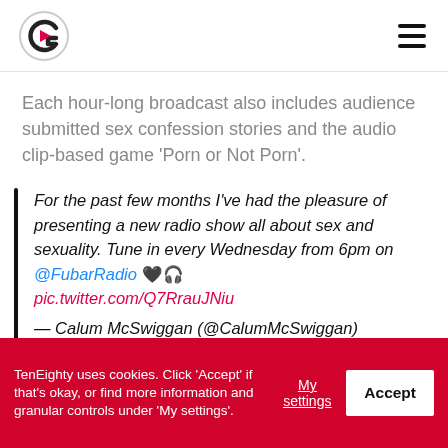TenEighty logo and navigation
Each hour-long broadcast also includes audience submitted sex confession stories and the audio clip-based game ‘Porn or Not Porn’.
For the past few months I’ve had the pleasure of presenting a new radio show all about sex and sexuality. Tune in every Wednesday from 6pm on @FubarRadio ♥️🎧 pic.twitter.com/Q7RrauJNiu — Calum McSwiggan (@CalumMcSwiggan) January 28, 2018
TenEighty uses cookies. Click ‘Accept’ if that’s okay, or find more information and granular controls under ‘My settings’.